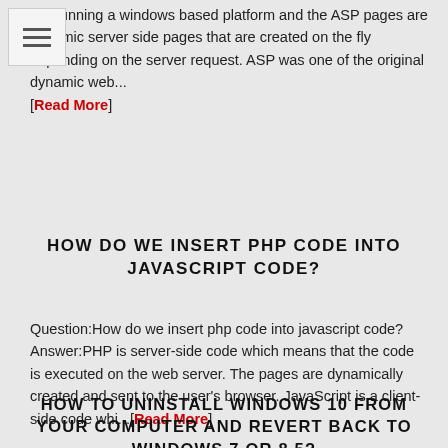are running a windows based platform and the ASP pages are dynamic server side pages that are created on the fly depending on the server request. ASP was one of the original dynamic web... [Read More]
HOW DO WE INSERT PHP CODE INTO JAVASCRIPT CODE?
Question:How do we insert php code into javascript code? Answer:PHP is server-side code which means that the code is executed on the web server. The pages are dynamically created and sent to the user's browser. JavaScript is a client-side code whi...[Read More]
HOW TO UNINSTALL WINDOWS 10 FROM YOUR COMPUTER AND REVERT BACK TO WINDOWS 7 OR 8.5?